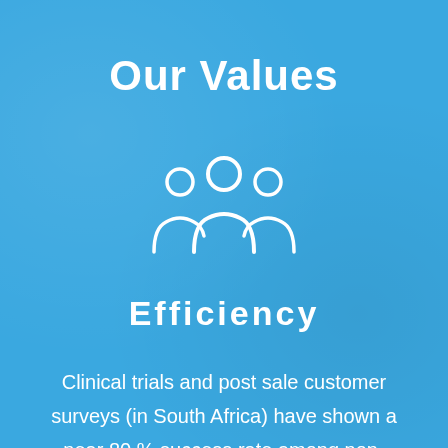Our Values
[Figure (illustration): White outline icon of three people/group representing a community or team]
Efficiency
Clinical trials and post sale customer surveys (in South Africa) have shown a near 80 % success rate among non-selective populations of chronic